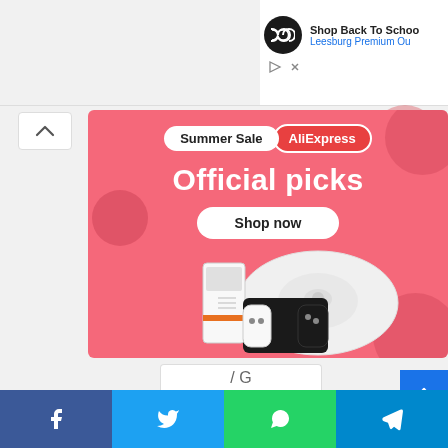[Figure (screenshot): Top advertisement bar with Leesburg Premium Outlets back to school ad, showing infinity loop logo icon, 'Shop Back To School' title, 'Leesburg Premium Ou...' subtitle in blue, with ad controls (play and X icons).]
[Figure (illustration): AliExpress Summer Sale banner ad with pink/coral background, 'Summer Sale AliExpress' pill badges, 'Official picks' heading in white, 'Shop now' white button, and product images including a robot vacuum, gaming handheld, and Nintendo Switch-style controller.]
[Figure (screenshot): Bottom social media share bar with Facebook (blue), Twitter (light blue), WhatsApp (green), and Telegram (blue) buttons with respective icons.]